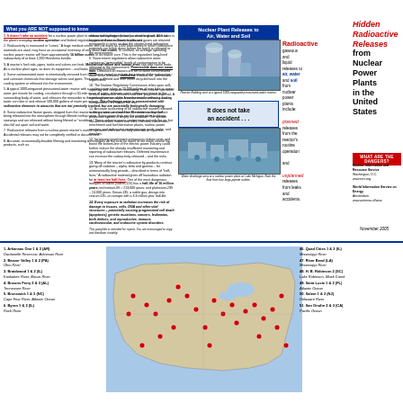What you ARE NOT supposed to know
1. It doesn't take an accident for a nuclear power plant to release radioactivity into our air, water and soil. All it takes is the plant's everyday routine operation and federal regulations permit these radioactive releases.
2. Radioactivity is measured in 'curies.' A large medical center, with as many as 1000 laboratories in which radioactive materials are used, may have an occasional inventory of only about two curies. In contrast, an average operating nuclear power reactor will have approximately 16 billion curies in its reactor core. This is the equivalent long-lived radioactivity of at least 1,000 Hiroshima bombs.
3. A reactor's fuel rods, pipes, tanks and valves can leak. Mechanical failure and human error can also cause leaks. As a nuclear plant ages, so does its equipment - and leaks generally increase.
9. Government regulations allow radioactive water containing 'permissible' levels of contamination to be released to the environment. Permissible does not mean safe. Detectors at reactors are set to allow contaminated water to be released, unfiltered, if below the 'permissible' legal levels.
10. The Nuclear Regulatory Commission relies upon self-reporting and computer monitoring. From reactor operators to track radioactive releases and their projected dispersal. A significant portion of the environmental monitoring data is extrapolated - it's virtual, not real.
11. Accurate accounting of all radioactive wastes released to the air, water and soil from the entire nuclear fuel production system is simply not available. The system includes uranium mines and mills, chemical conversion, enrichment and fuel fabrication plants, nuclear power reactors, and radioactive waste storage pools, tanks, and trenches.
Nuclear Plant Releases to Air, Water and Soil
Radioactive gaseous and liquid releases to air, water and soil from nuclear power plants include:
planned releases from the reactor's routine operation and
unplanned releases from leaks and accidents.
Hidden Radioactive Releases from Nuclear Power Plants in the United States
WHAT ARE THE DANGERS?
Nuclear Information and Resource Service Washington, D.C. www.nirs.org World Information Service on Energy Amsterdam www.antenna.nl/wise
November 2005
Reactor Building vent at a typical 1000-megawatt pressurized-water reactor
Water discharge area at a nuclear power plant on Lake Michigan. Note the flow from four large-pipette outlets.
1. Arkansas One 1 & 2 (AR) Dardanelle Reservoir, Arkansas River
2. Beaver Valley 1 & 2 (PA) Ohio River
3. Braidwood 1 & 2 (IL) Kankakee River, Illinois River
4. Browns Ferry 2 & 3 (AL) Tennessee River
5. Brunswick 1 & 2 (NC) Cape Fear River, Atlantic Ocean
6. Byron 1 & 2 (IL) Rock River
46. Quad Cities 1 & 2 (IL) Mississippi River
47. River Bend (LA) Mississippi River
48. H. B. Robinson 2 (SC) Lake Robinson, Black Creek
49. Saint Lucie 1 & 2 (FL) Atlantic Ocean
50. Salem 1 & 2 (NJ) Delaware River
51. San Onofre 2 & 3 (CA) Pacific Ocean
[Figure (map): Map of the United States showing locations of nuclear power plants marked with red dots]